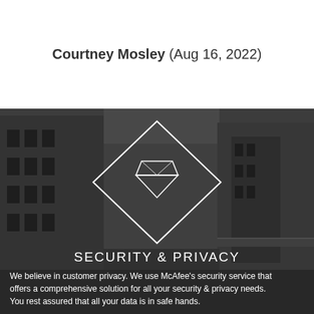Courtney Mosley (Aug 16, 2022)
[Figure (photo): Black and white photograph of a canal between tall brick warehouse buildings with a bridge in the background, featuring an overlaid diamond-shaped icon with a gem/diamond symbol and text 'SECURITY & PRIVACY']
SECURITY & PRIVACY
We believe in customer privacy. We use McAfee's security service that offers a comprehensive solution for all your security & privacy needs. You rest assured that all your data is in safe hands.